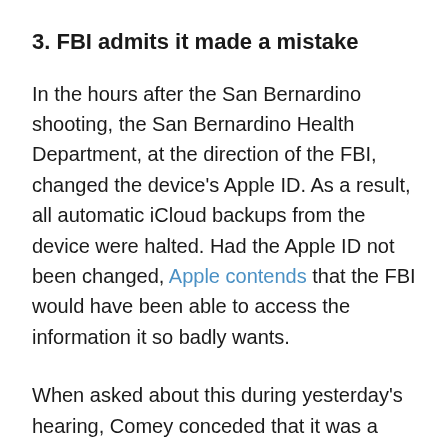3. FBI admits it made a mistake
In the hours after the San Bernardino shooting, the San Bernardino Health Department, at the direction of the FBI, changed the device's Apple ID. As a result, all automatic iCloud backups from the device were halted. Had the Apple ID not been changed, Apple contends that the FBI would have been able to access the information it so badly wants.
When asked about this during yesterday's hearing, Comey conceded that it was a mistake.